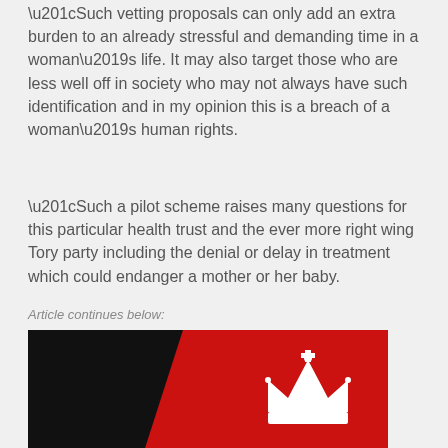“Such vetting proposals can only add an extra burden to an already stressful and demanding time in a woman’s life. It may also target those who are less well off in society who may not always have such identification and in my opinion this is a breach of a woman’s human rights.
“Such a pilot scheme raises many questions for this particular health trust and the ever more right wing Tory party including the denial or delay in treatment which could endanger a mother or her baby.
Article continues below:
[Figure (photo): Red and black image with white crown graphic and text 'KEEP' visible at the bottom, resembling a 'Keep Calm' style poster on a dark background.]